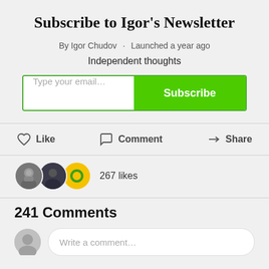Subscribe to Igor's Newsletter
By Igor Chudov · Launched a year ago
Independent thoughts
[Figure (screenshot): Email subscription input box with placeholder 'Type your email...' and a green 'Subscribe' button]
[Figure (screenshot): Action bar with Like, Comment, and Share buttons with icons]
[Figure (screenshot): Three overlapping user avatars followed by '267 likes' text]
241 Comments
[Figure (screenshot): Write a comment input area with user avatar and rounded text field with placeholder 'Write a comment...']